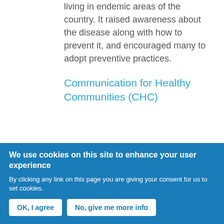living in endemic areas of the country. It raised awareness about the disease along with how to prevent it, and encouraged many to adopt preventive practices.
Communication for Healthy Communities (CHC)
This program, funded by USAID and managed by FHI360, was designed to help achieve high national...
We use cookies on this site to enhance your user experience
By clicking any link on this page you are giving your consent for us to set cookies.